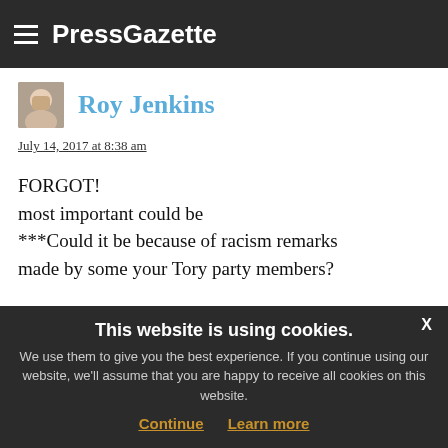PressGazette
Roy Jenkins
July 14, 2017 at 8:38 am
FORGOT!
most important could be
***Could it be because of racism remarks made by some your Tory party members?
1  2
MORE COMMENTS
This website is using cookies.
We use them to give you the best experience. If you continue using our website, we'll assume that you are happy to receive all cookies on this website.
Continue  Learn more